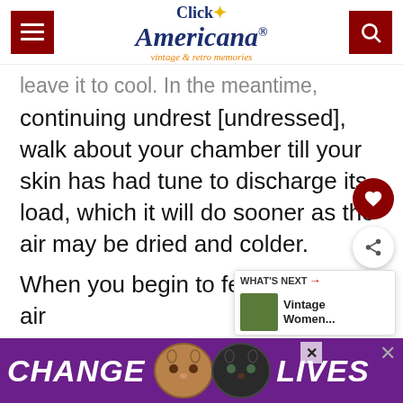Click Americana® vintage & retro memories
leave it to cool. In the meantime,
continuing undrest [undressed], walk about your chamber till your skin has had tune to discharge its load, which it will do sooner as the air may be dried and colder.
When you begin to feel the cold air unpleasant, then return to you[r bed,] and you will soon fall asleep, and your sl[umber]
[Figure (infographic): CHANGE LIVES advertisement banner with two cats, purple background]